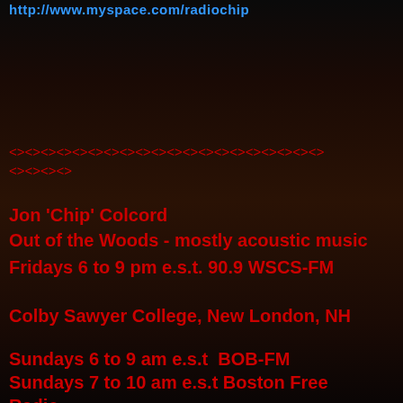http://www.myspace.com/radiochip
<><><><><><><><><><><><><><><><><><><>
<><><>
Jon 'Chip' Colcord
Out of the Woods - mostly acoustic music
Fridays 6 to 9 pm e.s.t. 90.9 WSCS-FM
Colby Sawyer College, New London, NH
Sundays 6 to 9 am e.s.t  BOB-FM
Sundays 7 to 10 am e.s.t Boston Free Radio
Sundays 4 to 7 pm e.s.t. The Global Voice
Sundays and Wednesdays 8:30 pm p.s.t. Pi
100.9 FM